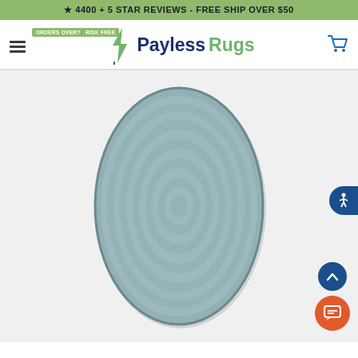★ 4400 + 5 STAR REVIEWS - FREE SHIP OVER $50
[Figure (logo): PaylessRugs logo with lightning bolt icon, hamburger menu on left, cart icon on right, and promo tag 'ORDERS OVER? RISK FREE']
[Figure (photo): Oval braided rug in blue-grey/teal heathered texture displayed on white background]